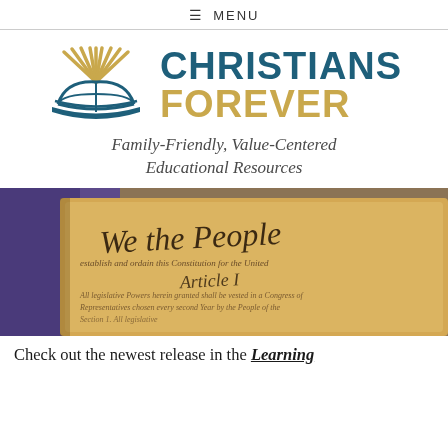≡ MENU
[Figure (logo): Christians Forever logo with open book icon and teal/gold text]
Family-Friendly, Value-Centered Educational Resources
[Figure (photo): Close-up photo of the US Constitution parchment showing 'We the People' and 'Article 1' in ornate calligraphy script, with an American flag visible in the background]
Check out the newest release in the Learning